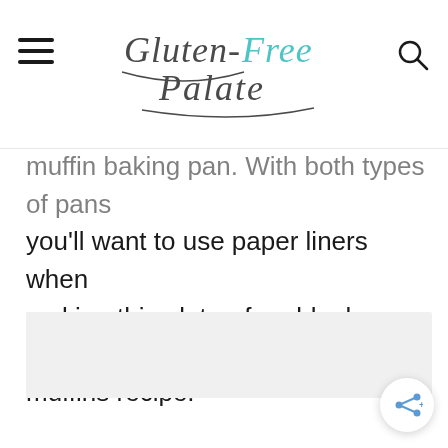Gluten-Free Palate
muffin baking pan. With both types of pans you'll want to use paper liners when making this gluten-free blueberry banana muffins recipe.
[Figure (photo): Image placeholder area, light gray background]